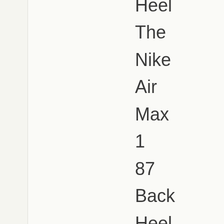Heel The Nike Air Max 1 87 Back Heel has large 87